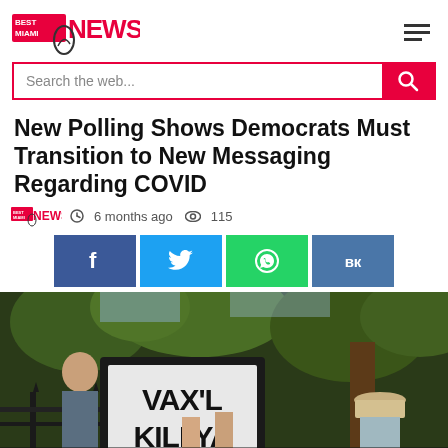Best Miami News
New Polling Shows Democrats Must Transition to New Messaging Regarding COVID
6 months ago  115
[Figure (photo): A man holding a protest sign reading 'VAX'L KILL YA' in front of a fence with trees in the background]
VAX'L KILLYA protest sign